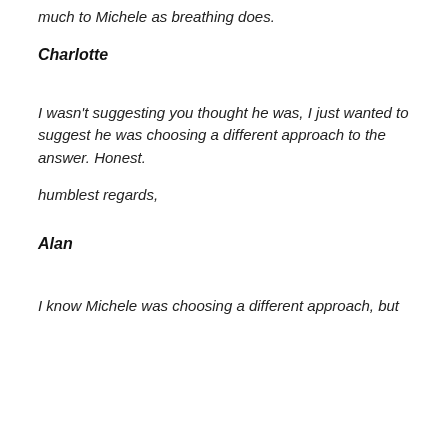much to Michele as breathing does.
Charlotte
I wasn't suggesting you thought he was, I just wanted to suggest he was choosing a different approach to the answer. Honest.
humblest regards,
Alan
I know Michele was choosing a different approach, but